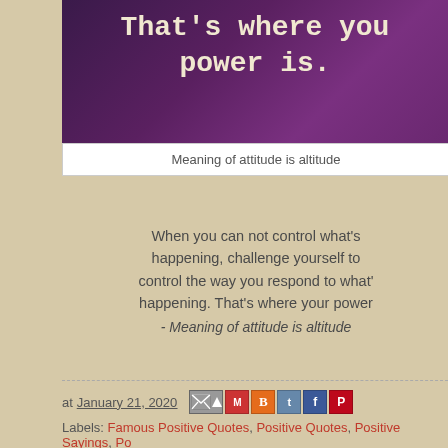[Figure (photo): Dark purple/violet space-themed background with white monospace text reading 'That's where you power is.']
Meaning of attitude is altitude
When you can not control what's happening, challenge yourself to control the way you respond to what's happening. That's where your power is. - Meaning of attitude is altitude
at January 21, 2020   [share icons]  Labels: Famous Positive Quotes, Positive Quotes, Positive Sayings, Po...